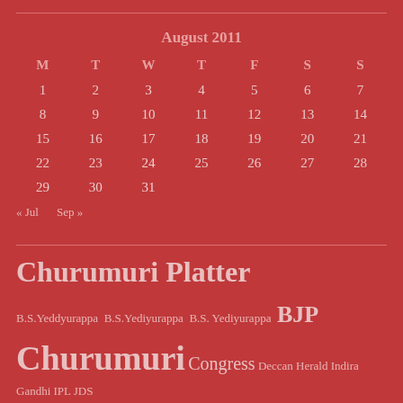August 2011
| M | T | W | T | F | S | S |
| --- | --- | --- | --- | --- | --- | --- |
| 1 | 2 | 3 | 4 | 5 | 6 | 7 |
| 8 | 9 | 10 | 11 | 12 | 13 | 14 |
| 15 | 16 | 17 | 18 | 19 | 20 | 21 |
| 22 | 23 | 24 | 25 | 26 | 27 | 28 |
| 29 | 30 | 31 |  |  |  |  |
« Jul   Sep »
Churumuri Platter
B.S.Yeddyurappa B.S.Yediyurappa B.S. Yediyurappa BJP Churumuri Congress Deccan Herald Indira Gandhi IPL JDS